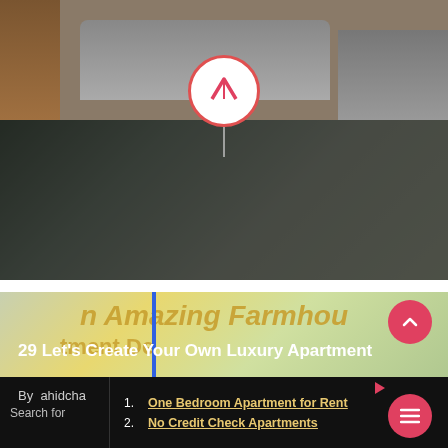[Figure (photo): Blog article card showing luxury apartment living room with gray sofa, wood cabinets, with a circular logo/pin overlay and dark overlay at bottom]
29 Let’s Create Your Own Luxury Apartment
By  ahidcha
[Figure (photo): Partially visible second article card showing Amazing Farmhouse apartment decoration text in gold on colorful background]
1. One Bedroom Apartment for Rent
2. No Credit Check Apartments
Search for